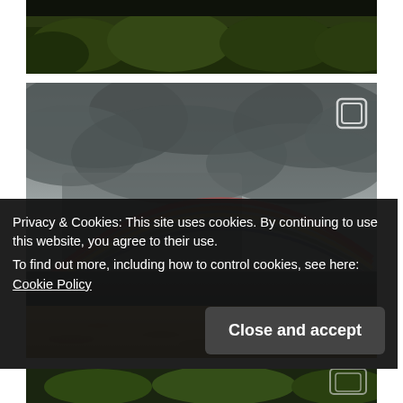[Figure (photo): Partial top image showing dark green foliage/treetops against dark background]
[Figure (photo): Beach scene with dramatic stormy grey sky showing a rainbow arching from the upper center to the lower right, above a sandy beach with a body of water in the middle ground. A gallery/copy icon is visible in the top-right corner of the image.]
Privacy & Cookies: This site uses cookies. By continuing to use this website, you agree to their use.
To find out more, including how to control cookies, see here: Cookie Policy
Close and accept
[Figure (photo): Partial bottom photo strip showing green foliage and a partial gallery icon]